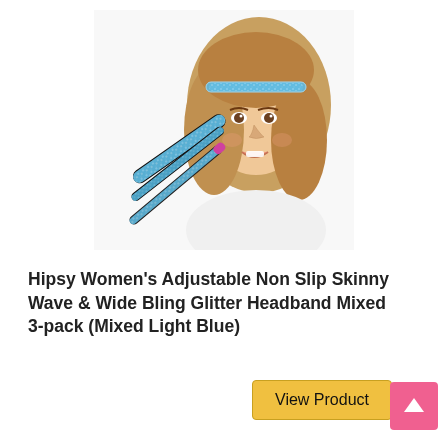[Figure (photo): Product photo showing a smiling blonde woman wearing a light blue glitter headband on her head, with two additional thin light blue glitter headbands displayed in front on a white background.]
Hipsy Women's Adjustable Non Slip Skinny Wave & Wide Bling Glitter Headband Mixed 3-pack (Mixed Light Blue)
View Product